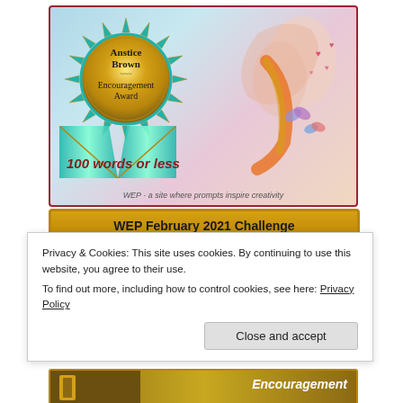[Figure (illustration): WEP Anstice Brown Encouragement Award badge — gold sunburst medal with teal ribbon, text '100 words or less', art of two figures with butterflies and hearts, caption 'WEP - a site where prompts inspire creativity']
[Figure (illustration): WEP February 2021 Challenge banner — gold header with black text 'WEP February 2021 Challenge', dark gold background with decorative S and circular artwork, white text 'Post']
Privacy & Cookies: This site uses cookies. By continuing to use this website, you agree to their use.
To find out more, including how to control cookies, see here: Privacy Policy
Close and accept
[Figure (illustration): Bottom partial banner — gold/brown background with white italic text 'Encouragement']